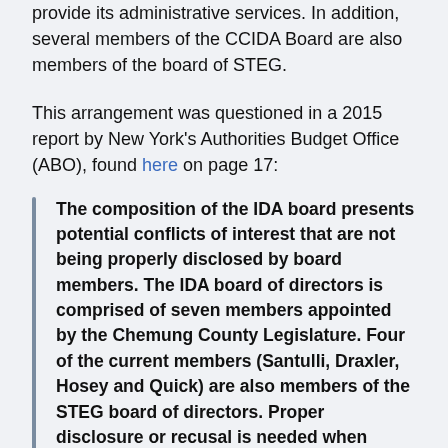provide its administrative services. In addition, several members of the CCIDA Board are also members of the board of STEG.
This arrangement was questioned in a 2015 report by New York's Authorities Budget Office (ABO), found here on page 17:
The composition of the IDA board presents potential conflicts of interest that are not being properly disclosed by board members. The IDA board of directors is comprised of seven members appointed by the Chemung County Legislature. Four of the current members (Santulli, Draxler, Hosey and Quick) are also members of the STEG board of directors. Proper disclosure or recusal is needed when these IDA board members are voting on matters that affect any business conducted between STEG and the IDA. A review of the IDA's 2012 board